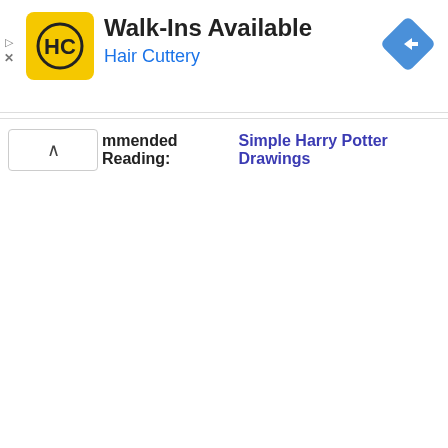[Figure (logo): Hair Cuttery HC logo on yellow background square with rounded corners]
Walk-Ins Available
Hair Cuttery
[Figure (other): Blue diamond navigation/directions icon with right-turn arrow]
mmended Reading:  Simple Harry Potter Drawings